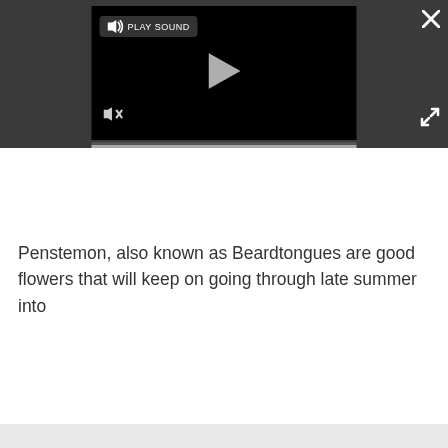[Figure (screenshot): A dark-themed video player UI with a black video area showing a play button in the center. Top left has a 'PLAY SOUND' button with speaker icon. Bottom left has a mute/speaker icon. Top right has an X close button. Bottom right has an expand/fullscreen icon. A scrollbar sits below the video area.]
Penstemon, also known as Beardtongues are good flowers that will keep on going through late summer into